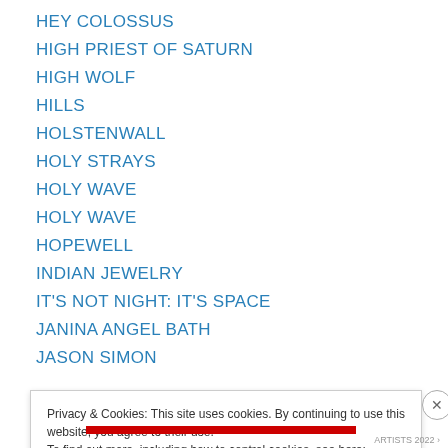HEY COLOSSUS
HIGH PRIEST OF SATURN
HIGH WOLF
HILLS
HOLSTENWALL
HOLY STRAYS
HOLY WAVE
HOLY WAVE
HOPEWELL
INDIAN JEWELRY
IT'S NOT NIGHT: IT'S SPACE
JANINA ANGEL BATH
JASON SIMON
Privacy & Cookies: This site uses cookies. By continuing to use this website, you agree to their use.
To find out more, including how to control cookies, see here: Cookie Policy
Close and accept